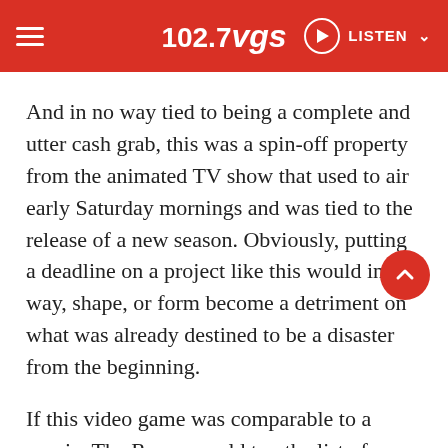102.7VGS | LISTEN
And in no way tied to being a complete and utter cash grab, this was a spin-off property from the animated TV show that used to air early Saturday mornings and was tied to the release of a new season. Obviously, putting a deadline on a project like this would in no way, shape, or form become a detriment on what was already destined to be a disaster from the beginning.
If this video game was comparable to a movie, The Room would top the list of suggestions. Sonic wears an asset... That's it, if you need any